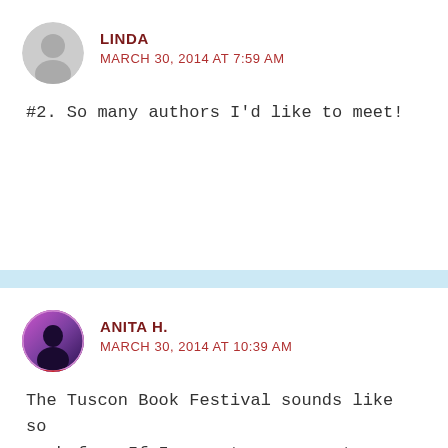LINDA
MARCH 30, 2014 AT 7:59 AM
#2. So many authors I'd like to meet!
ANITA H.
MARCH 30, 2014 AT 10:39 AM
The Tuscon Book Festival sounds like so much fun. If I were to ever meet an author, I would love to meet Nora Roberts since I've